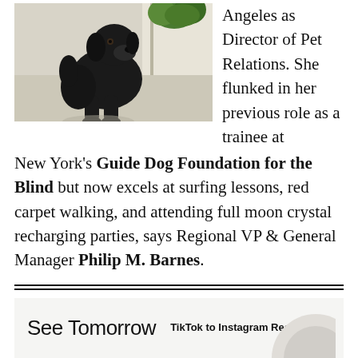[Figure (photo): A black Labrador dog sitting on a light-colored floor near a glass door with green plants visible in the background.]
Angeles as Director of Pet Relations. She flunked in her previous role as a trainee at New York's Guide Dog Foundation for the Blind but now excels at surfing lessons, red carpet walking, and attending full moon crystal recharging parties, says Regional VP & General Manager Philip M. Barnes.
[Figure (other): Bottom promotional section with 'See Tomorrow' text and 'TikTok to Instagram Reels:' heading alongside a circular graphic.]